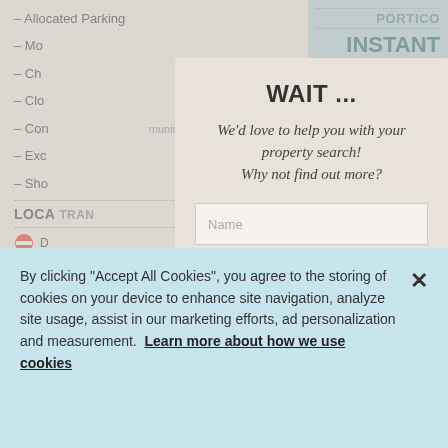– Allocated Parking
– Mo...
– Ch...
– Clo...
– Con...muninal grounds
– Exc...
– Sho...
LOCA... TRAN...
D... (tube icon)
L... (tube icon)
T... (tube icon)
PROP... TY DES... RIPTION
*Guide...
[Figure (screenshot): Modal dialog overlay with title 'WAIT ...' and subtitle 'We'd love to help you with your property search! Why not find out more?' with form fields for Name, Telephone / Mobile, and Email]
PORTICO
INSTANT VALUATION
INTERACTIVE
By clicking "Accept All Cookies", you agree to the storing of cookies on your device to enhance site navigation, analyze site usage, assist in our marketing efforts, ad personalization and measurement.  Learn more about how we use cookies